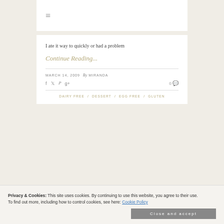≡
I ate it way to quickly or had a problem
Continue Reading...
MARCH 14, 2009  By MIRANDA
f  t  p  g+   0 💬
DAIRY FREE / DESSERT / EGG FREE / GLUTEN
Privacy & Cookies: This site uses cookies. By continuing to use this website, you agree to their use.
To find out more, including how to control cookies, see here: Cookie Policy
Close and accept